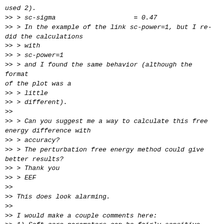used 2).
>> > sc-sigma                    = 0.47
>> > In the example of the link sc-power=1, but I re-did the calculations
>> > with
>> > sc-power=1
>> > and I found the same behavior (although the format of the plot was a
>> > little
>> > different).
>>
>> > Can you suggest me a way to calculate this free energy difference with
>> > accuracy?
>> > The perturbation free energy method could give better results?
>> > Thank you
>> > EEF
>>
>> This does look alarming.
>>
>> I would make a couple comments here:
>> 1) Soft core parameters can be fairly sensitive. Michael Shirts and I
>> have both looked at these independently and we find that sc-power =
>> 1.0 with an alpha of 0.5 is typically substantially better than most
>> other options. Even alpha = 0.47 or 0.53 can be much worse than alpha